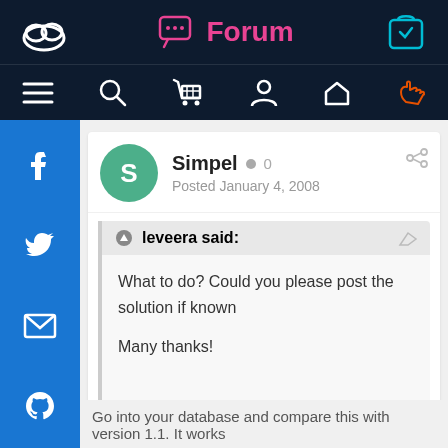Forum
Simpel · 0 · Posted January 4, 2008
leveera said:
What to do? Could you please post the solution if known

Many thanks!

Sergei
Go into your database and compare this with version 1.1. It works